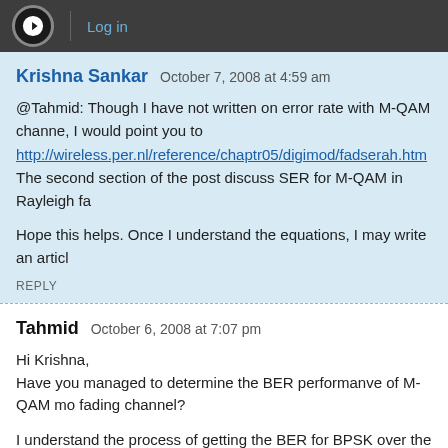Log in
Krishna Sankar   October 7, 2008 at 4:59 am
@Tahmid: Though I have not written on error rate with M-QAM channe, I would point you to
http://wireless.per.nl/reference/chaptr05/digimod/fadserah.htm
The second section of the post discuss SER for M-QAM in Rayleigh fa

Hope this helps. Once I understand the equations, I may write an articl
REPLY
Tahmid   October 6, 2008 at 7:07 pm
Hi Krishna,
Have you managed to determine the BER performanve of M-QAM mo fading channel?

I understand the process of getting the BER for BPSK over the rayleig lost when it comes to 4/8/16QAM. In particular I would like to know h